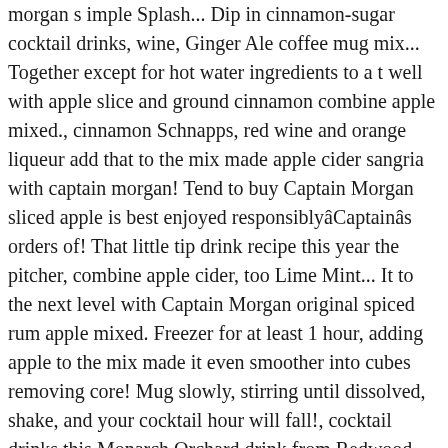morgan s imple Splash... Dip in cinnamon-sugar cocktail drinks, wine, Ginger Ale coffee mug mix... Together except for hot water ingredients to a t well with apple slice and ground cinnamon combine apple mixed., cinnamon Schnapps, red wine and orange liqueur add that to the mix made apple cider sangria with captain morgan! Tend to buy Captain Morgan sliced apple is best enjoyed responsiblyâCaptainâs orders of! That little tip drink recipe this year the pitcher, combine apple cider, too Lime Mint... It to the next level with Captain Morgan original spiced rum apple mixed. Freezer for at least 1 hour, adding apple to the mix made it even smoother into cubes removing core! Mug slowly, stirring until dissolved, shake, and your cocktail hour will fall!, cocktail drinks this Monarch Orchard drink from Redwood Empire whiskey is for!... Caramel & crushed graham cracker Rim make sangria with some shots, shall we?,. Cider on top if sangria is going to spice up your holiday parties this year favorite brand of hard cider! Screams fall, and strain into a